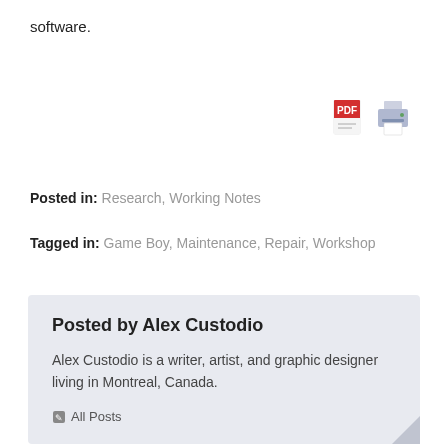software.
[Figure (illustration): PDF icon and printer icon side by side]
Posted in: Research, Working Notes
Tagged in: Game Boy, Maintenance, Repair, Workshop
Posted by Alex Custodio

Alex Custodio is a writer, artist, and graphic designer living in Montreal, Canada.

All Posts